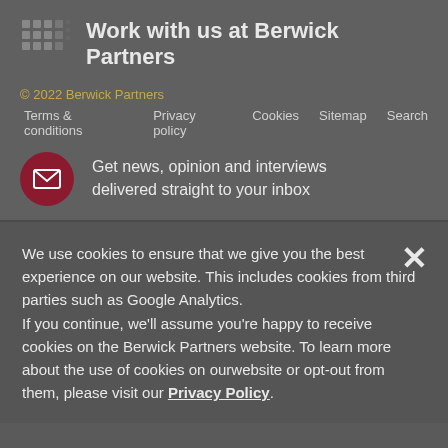Work with us at Berwick Partners
© 2022 Berwick Partners
Terms & conditions   Privacy policy   Cookies   Sitemap   Search
Get news, opinion and interviews delivered straight to your inbox
We use cookies to ensure that we give you the best experience on our website. This includes cookies from third parties such as Google Analytics.
If you continue, we'll assume you're happy to receive cookies on the Berwick Partners website. To learn more about the use of cookies on ourwebsite or opt-out from them, please visit our Privacy Policy.